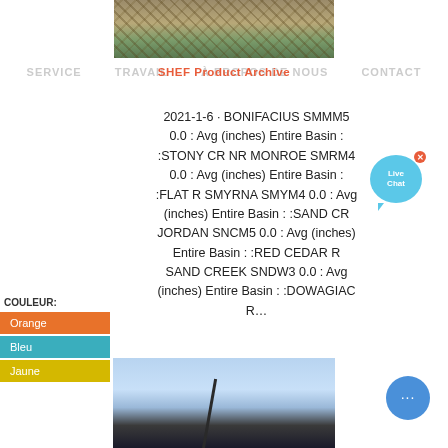[Figure (photo): Top photo of gravel/rocks and railroad tracks from above]
SERVICE   TRAVAIL   À PROPOS DE NOUS   CONTACT
SHEF Product Archive
2021-1-6 · BONIFACIUS SMMM5 0.0 : Avg (inches) Entire Basin : :STONY CR NR MONROE SMRM4 0.0 : Avg (inches) Entire Basin : :FLAT R SMYRNA SMYM4 0.0 : Avg (inches) Entire Basin : :SAND CR JORDAN SNCM5 0.0 : Avg (inches) Entire Basin : :RED CEDAR R SAND CREEK SNDW3 0.0 : Avg (inches) Entire Basin : :DOWAGIAC R...
[Figure (illustration): Live Chat bubble icon with X close button]
COULEUR:
Orange
Bleu
Jaune
[Figure (photo): Bottom photo of construction crane against cloudy sky]
[Figure (illustration): Chat button circle with dots]